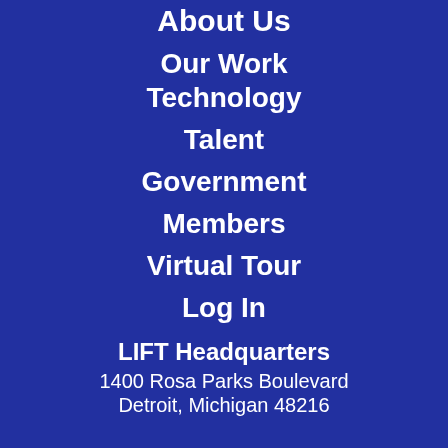About Us
Our Work
Technology
Talent
Government
Members
Virtual Tour
Log In
LIFT Headquarters
1400 Rosa Parks Boulevard
Detroit, Michigan 48216